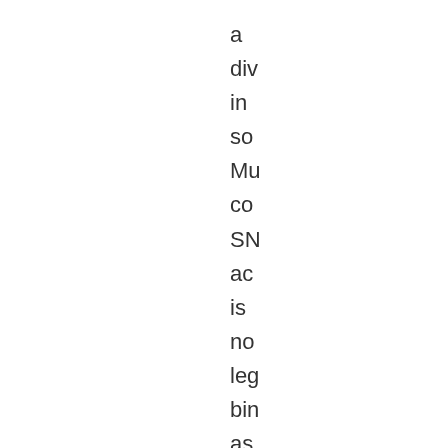a
div
in
so
Mu
co
SN
ac
is
no
leg
bin
as
an
ele
sig
in